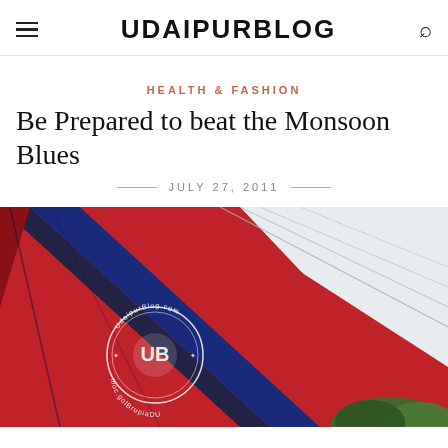UDAIPURBLOG
HEALTH & FASHION
Be Prepared to beat the Monsoon Blues
JULY 27, 2011
[Figure (photo): Close-up photograph of a red and blue umbrella from below against a light sky, with green trees visible at the bottom right. A circular watermark reads 'UdaipurBlog.com' with a logo in the center.]